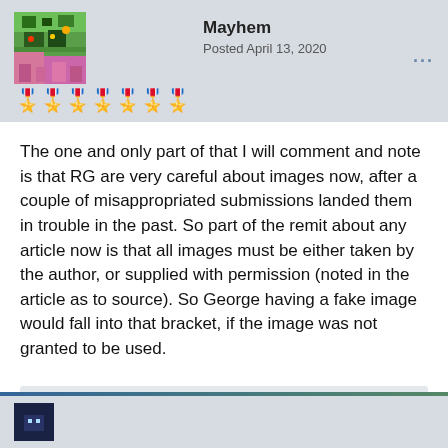Mayhem — Posted April 13, 2020
The one and only part of that I will comment and note is that RG are very careful about images now, after a couple of misappropriated submissions landed them in trouble in the past. So part of the remit about any article now is that all images must be either taken by the author, or supplied with permission (noted in the article as to source). So George having a fake image would fall into that bracket, if the image was not granted to be used.
Edited April 13, 2020 by Mayhem